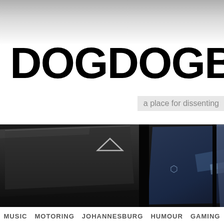DOGDOGBL
a place for dissenting
[Figure (photo): Close-up photo of dark keyboard keys with blue highlights]
MUSIC
MOTORING
JOHANNESBURG
HUMOUR
GAMING